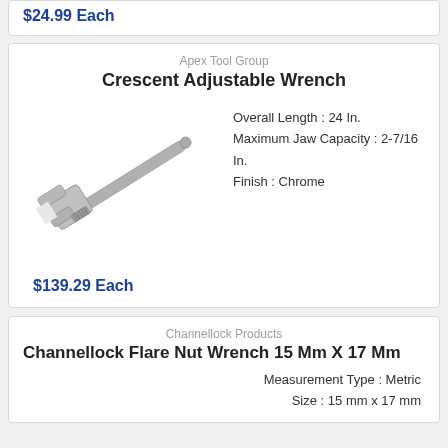$24.99 Each
Apex Tool Group
Crescent Adjustable Wrench
[Figure (photo): Photo of a chrome Crescent adjustable wrench angled diagonally from upper-left to lower-right]
Overall Length : 24 In.
Maximum Jaw Capacity : 2-7/16 In.
Finish : Chrome
$139.29 Each
Channellock Products
Channellock Flare Nut Wrench 15 Mm X 17 Mm
Measurement Type : Metric
Size : 15 mm x 17 mm